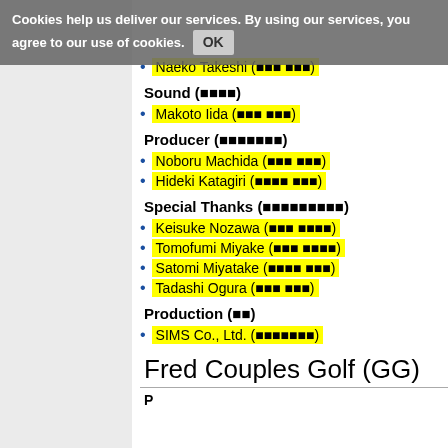Cookies help us deliver our services. By using our services, you agree to our use of cookies. OK
Naeko Takeshi (⬛⬛⬛ ⬛⬛⬛)
Sound (⬛⬛⬛⬛)
Makoto Iida (⬛⬛⬛ ⬛⬛⬛)
Producer (⬛⬛⬛⬛⬛⬛⬛)
Noboru Machida (⬛⬛⬛ ⬛⬛⬛)
Hideki Katagiri (⬛⬛⬛⬛ ⬛⬛⬛)
Special Thanks (⬛⬛⬛⬛⬛⬛⬛⬛⬛)
Keisuke Nozawa (⬛⬛⬛ ⬛⬛⬛⬛)
Tomofumi Miyake (⬛⬛⬛ ⬛⬛⬛⬛)
Satomi Miyatake (⬛⬛⬛⬛ ⬛⬛⬛)
Tadashi Ogura (⬛⬛⬛ ⬛⬛⬛)
Production (⬛⬛)
SIMS Co., Ltd. (⬛⬛⬛⬛⬛⬛⬛)
Fred Couples Golf (GG)
P